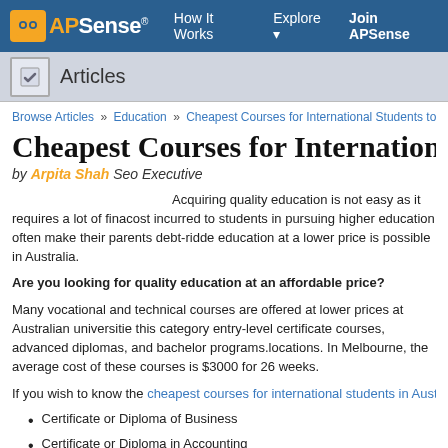APSense | How It Works | Explore | Join APSense
Articles
Browse Articles » Education » Cheapest Courses for International Students to...
Cheapest Courses for International Stu
by Arpita Shah Seo Executive
Acquiring quality education is not easy as it requires a lot of fina... cost incurred to students in pursuing higher education often make their parents debt-ridde... education at a lower price is possible in Australia.
Are you looking for quality education at an affordable price?
Many vocational and technical courses are offered at lower prices at Australian universitie... this category entry-level certificate courses, advanced diplomas, and bachelor programs. ... locations. In Melbourne, the average cost of these courses is $3000 for 26 weeks.
If you wish to know the cheapest courses for international students in Australia, here are s...
Certificate or Diploma of Business
Certificate or Diploma in Accounting
Advanced Diploma of Leadership and Management